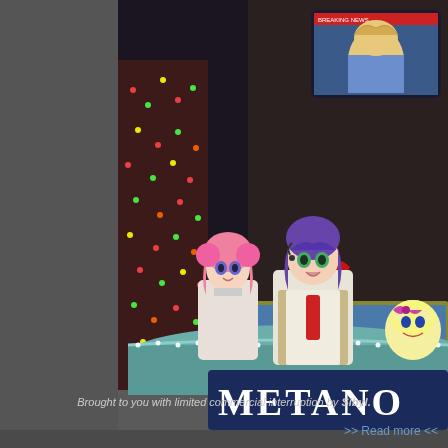[Figure (photo): Convention booth photo showing anime character cutouts (pink-haired and purple-haired characters) behind a desk with 'METANO' text, a tablet screen showing anime in upper right, a large screen/artwork in background, red bow decoration, string lights on dark curtain backdrop.]
Brought to you with limited commercial interruption by Sibyl.
>> Read more <<